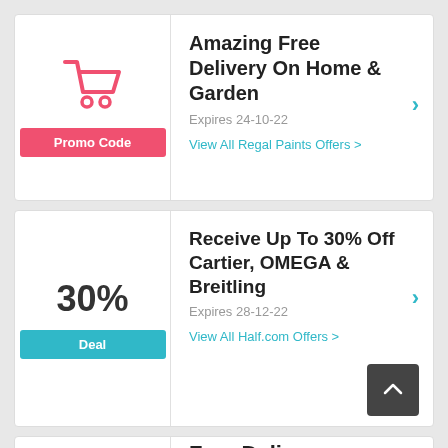[Figure (infographic): Promo code card with shopping cart icon and red 'Promo Code' button]
Amazing Free Delivery On Home & Garden
Expires 24-10-22
View All Regal Paints Offers >
[Figure (infographic): Deal card with '30%' text and teal 'Deal' button]
Receive Up To 30% Off Cartier, OMEGA & Breitling
Expires 28-12-22
View All Half.com Offers >
Free Delivery